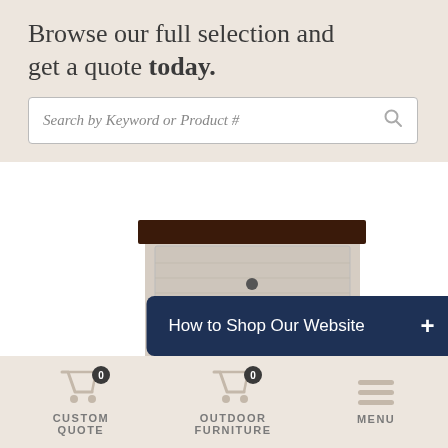Browse our full selection and get a quote today.
Search by Keyword or Product #
[Figure (photo): A wooden nightstand or small cabinet with a dark wood top and light gray/whitewashed body with a drawer featuring a small round knob.]
How to Shop Our Website
CUSTOM QUOTE
OUTDOOR FURNITURE
MENU